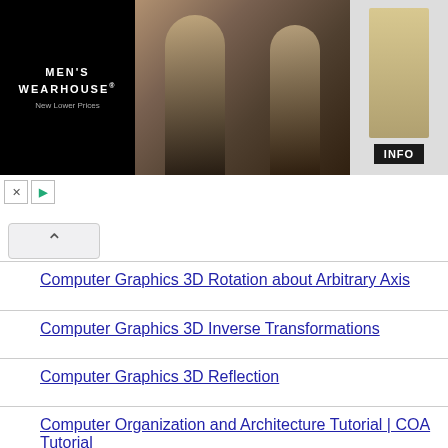[Figure (photo): Men's Wearhouse advertisement banner showing couple in formal wear and man in tan suit with INFO button]
Computer Graphics 3D Rotation about Arbitrary Axis
Computer Graphics 3D Inverse Transformations
Computer Graphics 3D Reflection
Computer Organization and Architecture Tutorial | COA Tutorial
Computer Graphics Bresenham's Circle Algorithm
Computer Graphics Midpoint Circle Algorithm
Computer Graphics Painter's Algorithm
Computer Graphics Scan Line Algorithm